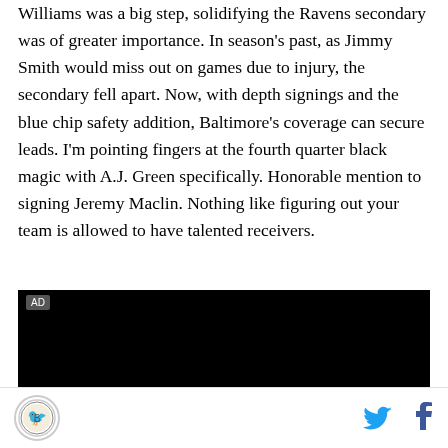Williams was a big step, solidifying the Ravens secondary was of greater importance. In season's past, as Jimmy Smith would miss out on games due to injury, the secondary fell apart. Now, with depth signings and the blue chip safety addition, Baltimore's coverage can secure leads. I'm pointing fingers at the fourth quarter black magic with A.J. Green specifically. Honorable mention to signing Jeremy Maclin. Nothing like figuring out your team is allowed to have talented receivers.
[Figure (other): Advertisement block (black rectangle with AD label)]
Site logo, Twitter share icon, Facebook share icon